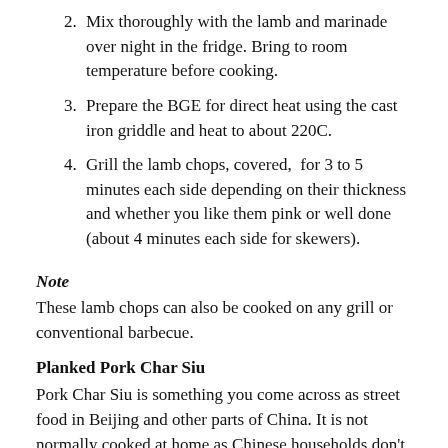2. Mix thoroughly with the lamb and marinade over night in the fridge. Bring to room temperature before cooking.
3. Prepare the BGE for direct heat using the cast iron griddle and heat to about 220C.
4. Grill the lamb chops, covered,  for 3 to 5 minutes each side depending on their thickness and whether you like them pink or well done (about 4 minutes each side for skewers).
Note
These lamb chops can also be cooked on any grill or conventional barbecue.
Planked Pork Char Siu
Pork Char Siu is something you come across as street food in Beijing and other parts of China. It is not normally cooked at home as Chinese households don't usually have access to barbecues. This special way of rapidly roasting or barbecuing meat that has